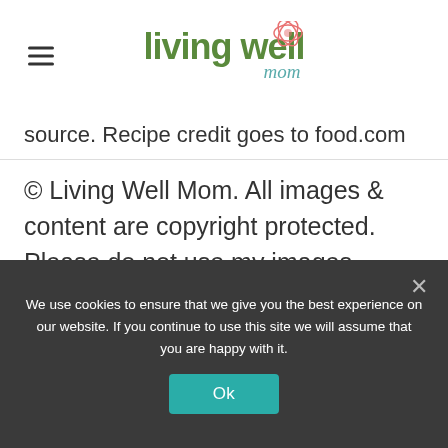living well mom
source. Recipe credit goes to food.com
© Living Well Mom. All images & content are copyright protected. Please do not use my images without prior permission. If you want to republish this recipe, please re-write the recipe in your own words and link back to this post for the recipe.
We use cookies to ensure that we give you the best experience on our website. If you continue to use this site we will assume that you are happy with it.